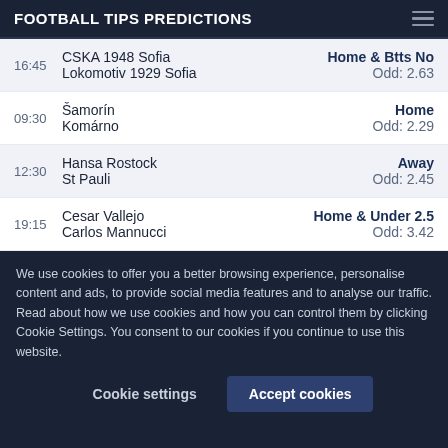FOOTBALL TIPS PREDICTIONS
16:45  CSKA 1948 Sofia / Lokomotiv 1929 Sofia  —  Home & Btts No  Odd: 2.63
09:30  Šamorín / Komárno  —  Home  Odd: 2.29
12:30  Hansa Rostock / St Pauli  —  Away  Odd: 2.45
19:15  Cesar Vallejo / Carlos Mannucci  —  Home & Under 2.5  Odd: 3.42
We use cookies to offer you a better browsing experience, personalise content and ads, to provide social media features and to analyse our traffic. Read about how we use cookies and how you can control them by clicking Cookie Settings. You consent to our cookies if you continue to use this website.
Cookie settings | Accept cookies